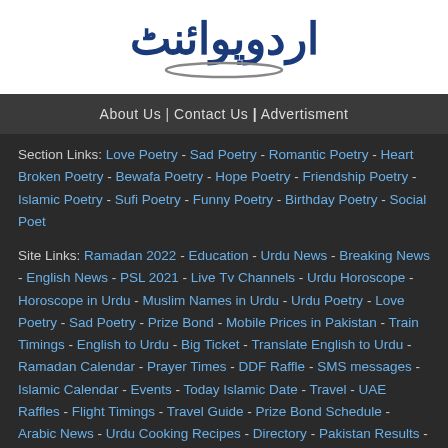[Figure (logo): Urdu Point logo with Urdu calligraphy text in dark blue and a decorative oval underline]
About Us | Contact Us | Advertisment
Section Links: Love Poetry - Sad Poetry - Romantic Poetry - Heart Broken Poetry - Bewafa Poetry - Hope Poetry - Friendship Poetry - Islamic Poetry - Sufi Poetry - Funny Poetry - Birthday Poetry - Social Poet
Site Links: Ramadan 2022 - Education - Urdu News - Breaking News - English News - PSL 2021 - Live Tv Channels - Urdu Horoscope - Horoscope in Urdu - Muslim Names in Urdu - Urdu Poetry - Love Poetry - Sad Poetry - Prize Bond - Mobile Prices in Pakistan - Train Timings - English to Urdu - Big Ticket - Translate English to Urdu - Ramadan Calendar - Prayer Times - DDF Raffle - SMS messages - Islamic Calendar - Events - Today Islamic Date - Travel - UAE Raffles - Flight Timings - Travel Guide - Prize Bond Schedule - Arabic News - Urdu Cooking Recipes - Directory - Pakistan Results - Past Papers - BISE - Schools in Pakistan - Academies & Tuition Centers - Car Prices - Bikes Prices